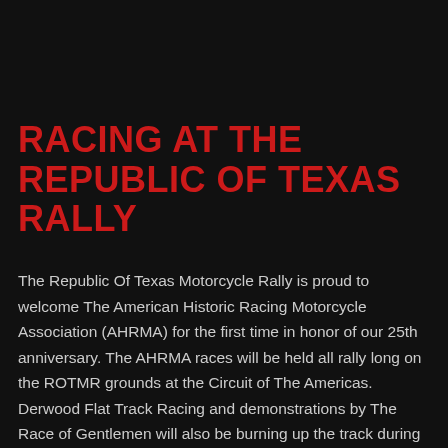RACING AT THE REPUBLIC OF TEXAS RALLY
The Republic Of Texas Motorcycle Rally is proud to welcome The American Historic Racing Motorcycle Association (AHRMA) for the first time in honor of our 25th anniversary. The AHRMA races will be held all rally long on the ROTMR grounds at the Circuit of The Americas. Derwood Flat Track Racing and demonstrations by The Race of Gentlemen will also be burning up the track during the rally. Check back for more information on daily schedules, sign ups and passes.